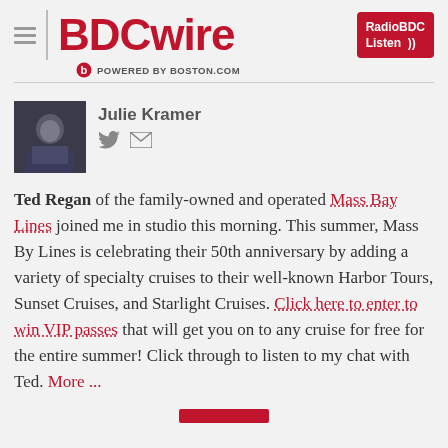BDCwire — POWERED BY BOSTON.COM
[Figure (photo): Author photo of Julie Kramer]
Julie Kramer
Ted Regan of the family-owned and operated Mass Bay Lines joined me in studio this morning. This summer, Mass By Lines is celebrating their 50th anniversary by adding a variety of specialty cruises to their well-known Harbor Tours, Sunset Cruises, and Starlight Cruises. Click here to enter to win VIP passes that will get you on to any cruise for free for the entire summer! Click through to listen to my chat with Ted. More ...